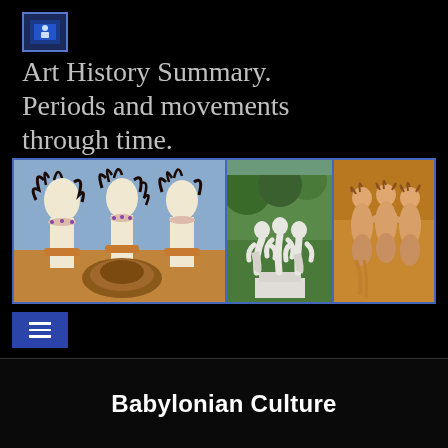[Figure (logo): Small blue square logo icon]
Art History Summary. Periods and movements through time.
[Figure (photo): Three panels of art history images: left panel shows a Minoan fresco painting of women with elaborate hair; center panel shows a neoclassical sculpture of three graces; right panel shows a Roman or Renaissance painting of three nude female figures.]
[Figure (other): Hamburger menu icon (three horizontal lines) on blue background]
Babylonian Culture